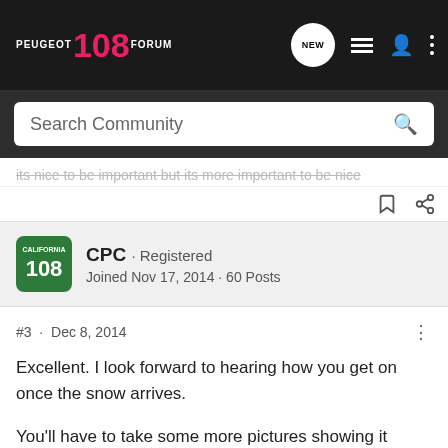[Figure (screenshot): Peugeot 108 Forum website header/navigation bar with logo, NEW chat bubble, list icon, user icon, and three-dot menu]
Search Community
its nice to be important but its more important to be nice
CPC · Registered
Joined Nov 17, 2014 · 60 Posts
#3 · Dec 8, 2014
Excellent. I look forward to hearing how you get on once the snow arrives.

You'll have to take some more pictures showing it ploughing through the snow 😀